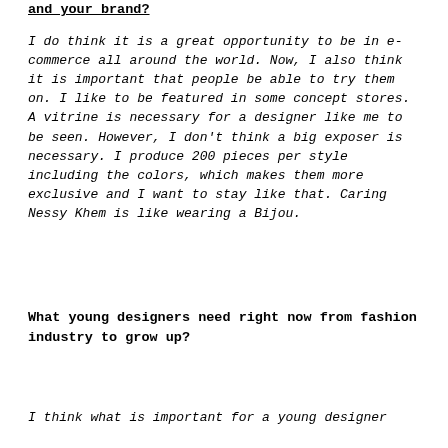and your brand?
I do think it is a great opportunity to be in e-commerce all around the world. Now, I also think it is important that people be able to try them on. I like to be featured in some concept stores. A vitrine is necessary for a designer like me to be seen. However, I don't think a big exposer is necessary. I produce 200 pieces per style including the colors, which makes them more exclusive and I want to stay like that. Caring Nessy Khem is like wearing a Bijou.
What young designers need right now from fashion industry to grow up?
I think what is important for a young designer